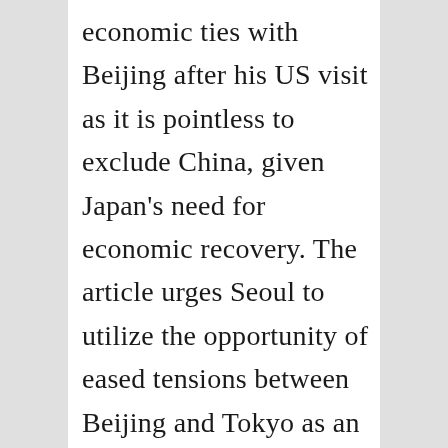economic ties with Beijing after his US visit as it is pointless to exclude China, given Japan's need for economic recovery. The article urges Seoul to utilize the opportunity of eased tensions between Beijing and Tokyo as an opportunity to celebrate the seventieth anniversary of independence and the fiftieth anniversary of